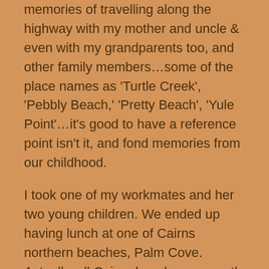memories of travelling along the highway with my mother and uncle & even with my grandparents too, and other family members…some of the place names as 'Turtle Creek', 'Pebbly Beach,' 'Pretty Beach', 'Yule Point'…it's good to have a reference point isn't it, and fond memories from our childhood.
I took one of my workmates and her two young children. We ended up having lunch at one of Cairns northern beaches, Palm Cove. Actually, all Cairns beaches are north of Cairns. That too was lovely, at least the beautiful salt air and scenery. People made use of the day and wind, by windsurfing, sailing, and swimming, white people sat in the sun with their sun tan lotions, reading